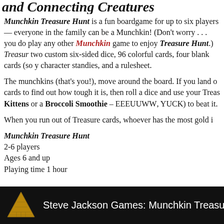and Connecting Creatures
Munchkin Treasure Hunt is a fun boardgame for up to six players — everyone in the family can be a Munchkin! (Don't worry . . . you don't need to play any other Munchkin game to enjoy Treasure Hunt.) Treasure Hunt includes two custom six-sided dice, 96 colorful cards, four blank cards (so you can…), character standies, and a rulesheet.
The munchkins (that's you!), move around the board. If you land on… cards to find out how tough it is, then roll a dice and use your Treas… Kittens or a Broccoli Smoothie – EEEUU WW, YUCK) to beat it.
When you run out of Treasure cards, whoever has the most gold in…
Munchkin Treasure Hunt
2-6 players
Ages 6 and up
Playing time 1 hour
Steve Jackson Games: Munchkin Treasure Hu…